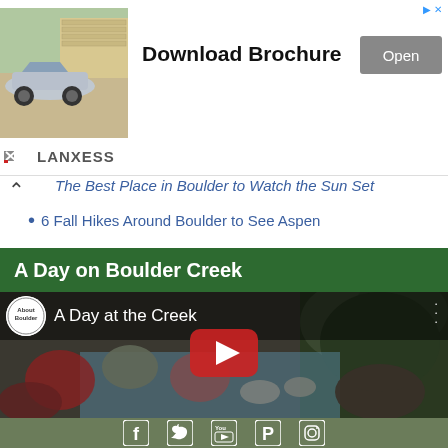[Figure (screenshot): Advertisement banner for LANXESS featuring a car image, 'Download Brochure' text, and an 'Open' button]
The Best Place in Boulder to Watch the Sun Set
6 Fall Hikes Around Boulder to See Aspen
A Day on Boulder Creek
[Figure (screenshot): YouTube video thumbnail titled 'A Day at the Creek' with About Boulder channel logo and play button]
[Figure (screenshot): Social media footer bar with Facebook, Twitter, YouTube, Pinterest, and Instagram icons]